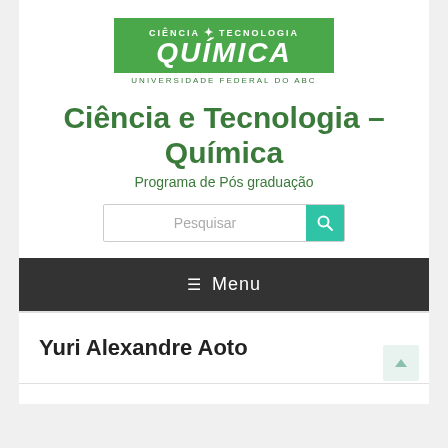[Figure (logo): Green logo box with 'CIÊNCIA & TECNOLOGIA QUÍMICA' and 'UNIVERSIDADE FEDERAL DO ABC' text]
Ciência e Tecnologia – Química
Programa de Pós graduação
[Figure (screenshot): Search bar with 'Pesquisar' placeholder and green search button]
≡  Menu
Yuri Alexandre Aoto